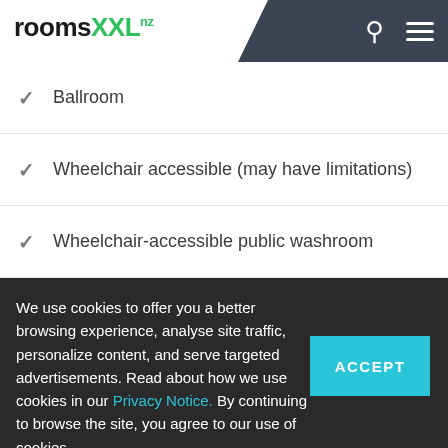roomsXXL.nz
Ballroom
Wheelchair accessible (may have limitations)
Wheelchair-accessible public washroom
Wheelchair-accessible concierge desk
We use cookies to offer you a better browsing experience, analyse site traffic, personalize content, and serve targeted advertisements. Read about how we use cookies in our Privacy Notice. By continuing to browse the site, you agree to our use of cookies.